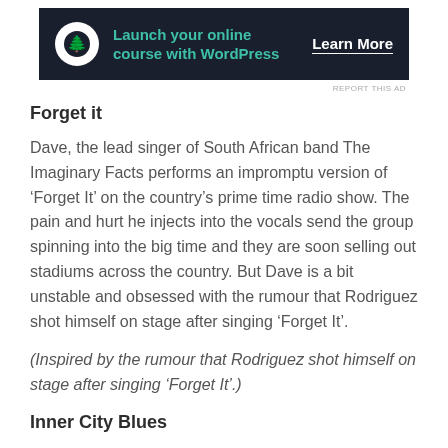[Figure (other): Advertisement banner with dark navy background, bonsai tree logo icon in white circle, green text 'Launch your online course with WordPress' and white 'Learn More' call-to-action link]
REPORT THIS AD
Forget it
Dave, the lead singer of South African band The Imaginary Facts performs an impromptu version of ‘Forget It’ on the country’s prime time radio show. The pain and hurt he injects into the vocals send the group spinning into the big time and they are soon selling out stadiums across the country. But Dave is a bit unstable and obsessed with the rumour that Rodriguez shot himself on stage after singing ‘Forget It’.
(Inspired by the rumour that Rodriguez shot himself on stage after singing ‘Forget It’.)
Inner City Blues
A suicide bomber tells of his preparations to explode